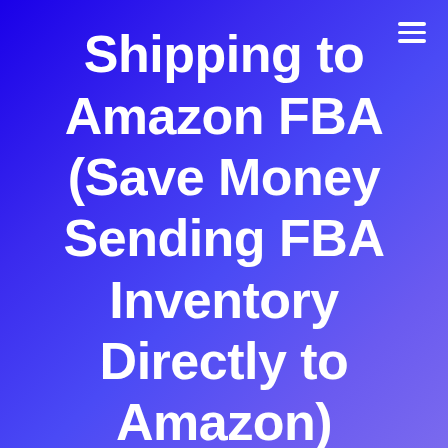[Figure (other): Hamburger menu icon (three horizontal white lines) in the top-right corner on a blue gradient background]
Shipping to Amazon FBA (Save Money Sending FBA Inventory Directly to Amazon)